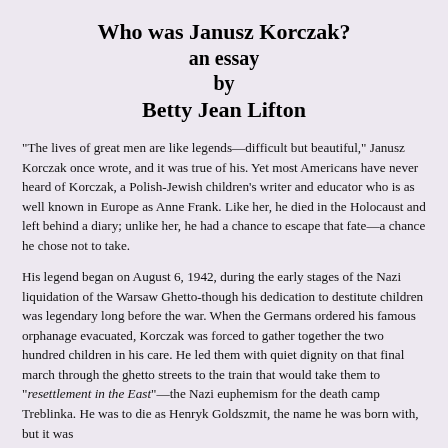Who was Janusz Korczak?
an essay
by
Betty Jean Lifton
"The lives of great men are like legends—difficult but beautiful," Janusz Korczak once wrote, and it was true of his. Yet most Americans have never heard of Korczak, a Polish-Jewish children's writer and educator who is as well known in Europe as Anne Frank. Like her, he died in the Holocaust and left behind a diary; unlike her, he had a chance to escape that fate—a chance he chose not to take.
His legend began on August 6, 1942, during the early stages of the Nazi liquidation of the Warsaw Ghetto-though his dedication to destitute children was legendary long before the war. When the Germans ordered his famous orphanage evacuated, Korczak was forced to gather together the two hundred children in his care. He led them with quiet dignity on that final march through the ghetto streets to the train that would take them to "resettlement in the East"—the Nazi euphemism for the death camp Treblinka. He was to die as Henryk Goldszmit, the name he was born with, but it was